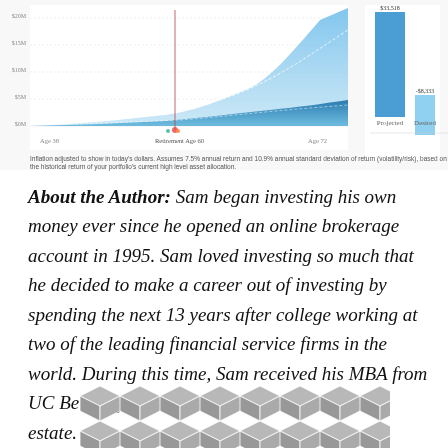[Figure (area-chart): Area chart showing projected retirement savings growth from Age 38 to Age 72, with a blue shaded region and dashed lines. A separate bar chart on the right shows Projected ($33,518) vs Desired (-$8,333) amounts.]
Inflation adjusted to show in today's dollars. Assumes 7.5% annual return and 10.9% annual standard deviation of return (volatility/risk), based on the historical return of your portfolio's current high level asset allocation.
About the Author: Sam began investing his own money ever since he opened an online brokerage account in 1995. Sam loved investing so much that he decided to make a career out of investing by spending the next 13 years after college working at two of the leading financial service firms in the world. During this time, Sam received his MBA from UC Berkeley with a focus on finance and real estate.
[Figure (illustration): Gray geometric hexagon/cube pattern tile at the bottom of the page.]